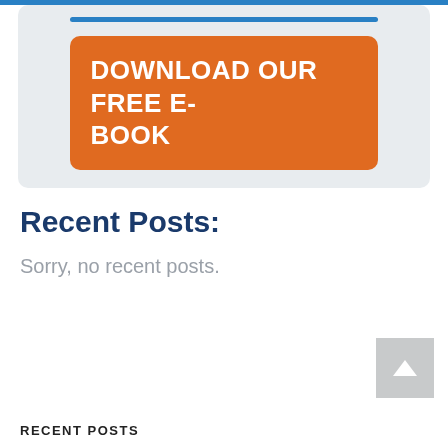[Figure (screenshot): Orange button with white text reading DOWNLOAD OUR FREE E-BOOK inside a light gray rounded card with a blue horizontal line at top]
Recent Posts:
Sorry, no recent posts.
[Figure (other): Gray scroll-to-top button with white upward arrow]
RECENT POSTS